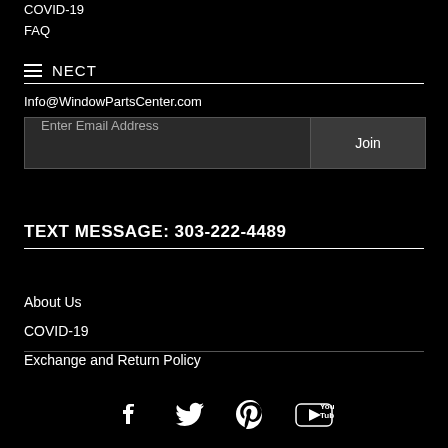COVID-19
FAQ
NECT
Info@WindowPartsCenter.com
Enter Email Address  Join
TEXT MESSAGE: 303-222-4489
About Us
COVID-19
Exchange and Return Policy
[Figure (other): Social media icons: Facebook, Twitter, Pinterest, YouTube]